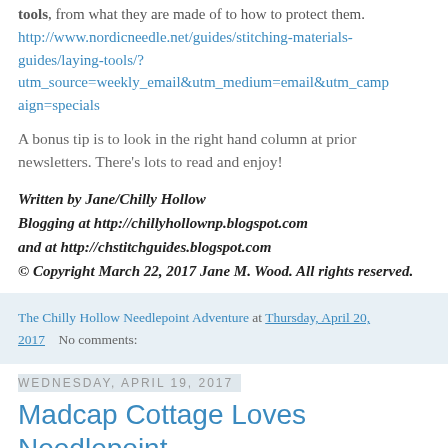tools, from what they are made of to how to protect them. http://www.nordicneedle.net/guides/stitching-materials-guides/laying-tools/?utm_source=weekly_email&utm_medium=email&utm_campaign=specials
A bonus tip is to look in the right hand column at prior newsletters. There's lots to read and enjoy!
Written by Jane/Chilly Hollow
Blogging at http://chillyhollownp.blogspot.com
and at http://chstitchguides.blogspot.com
© Copyright March 22, 2017 Jane M. Wood. All rights reserved.
The Chilly Hollow Needlepoint Adventure at Thursday, April 20, 2017   No comments:
Wednesday, April 19, 2017
Madcap Cottage Loves Needlepoint